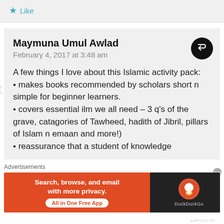★ Like
Maymuna Umul Awlad
February 4, 2017 at 3:48 am
A few things I love about this Islamic activity pack:
• makes books recommended by scholars short n simple for beginner learners.
• covers essential ilm we all need – 3 q's of the grave, catagories of Tawheed, hadith of Jibril, pillars of Islam n emaan and more!)
• reassurance that a student of knowledge
Advertisements
[Figure (infographic): DuckDuckGo advertisement banner: 'Search, browse, and email with more privacy. All in One Free App' with DuckDuckGo logo on dark background]